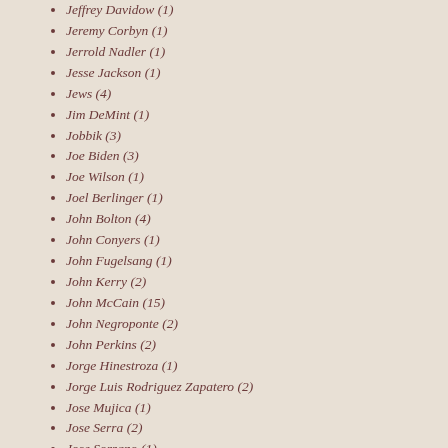Jeffrey Davidow (1)
Jeremy Corbyn (1)
Jerrold Nadler (1)
Jesse Jackson (1)
Jews (4)
Jim DeMint (1)
Jobbik (3)
Joe Biden (3)
Joe Wilson (1)
Joel Berlinger (1)
John Bolton (4)
John Conyers (1)
John Fugelsang (1)
John Kerry (2)
John McCain (15)
John Negroponte (2)
John Perkins (2)
Jorge Hinestroza (1)
Jorge Luis Rodriguez Zapatero (2)
Jose Mujica (1)
Jose Serra (2)
Jose Sorzano (1)
Jose Vicente Rangel (1)
Josef Zissels (1)
Joseph Stalin (2)
José Maria Aznar (3)